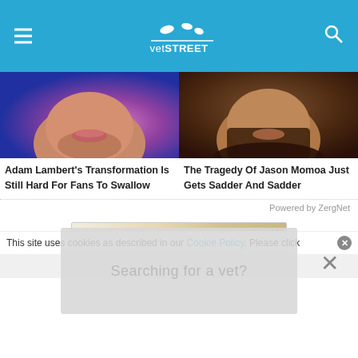vetSTREET
[Figure (photo): Adam Lambert close-up face photo with pink/purple bokeh background]
[Figure (photo): Jason Momoa close-up face photo with dark background and long beard]
Adam Lambert's Transformation Is Still Hard For Fans To Swallow
The Tragedy Of Jason Momoa Just Gets Sadder And Sadder
Powered by ZergNet
[Figure (screenshot): Advertisement banner showing vetstreet.com with light blonde/beige background and close button]
[Figure (screenshot): Popup overlay showing 'Searching for a vet?' with X close button]
This site uses cookies as described in our Cookie Policy. Please click